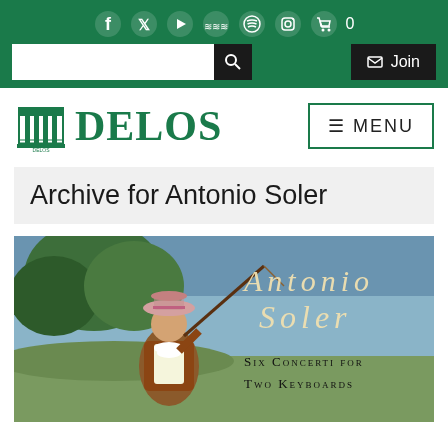Social icons: Facebook, Twitter, YouTube, SoundCloud, Spotify, Instagram, Cart (0)
[Figure (screenshot): Website header with search box and Join button on green background]
[Figure (logo): Delos Records logo with building icon and DELOS text in green]
≡ MENU
Archive for Antonio Soler
[Figure (photo): Album cover for Antonio Soler Six Concerti for Two Keyboards, showing a classical painting of a child with a whip toy, with text overlay reading ANTONIO SOLER and SIX CONCERTI FOR TWO KEYBOARDS]